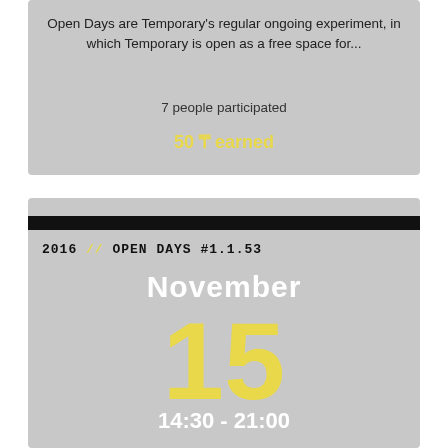Open Days are Temporary's regular ongoing experiment, in which Temporary is open as a free space for...
7 people participated
50 ₸ earned
2016 // OPEN DAYS #1.1.53
November
15
14:30 - 21:00